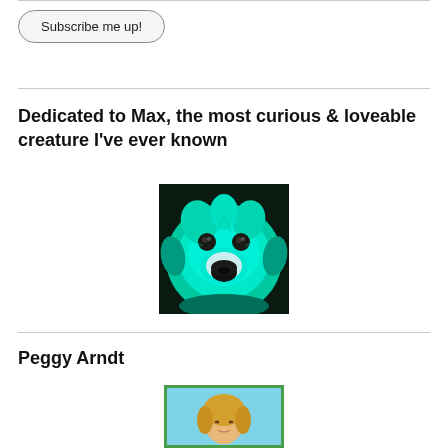Subscribe me up!
Dedicated to Max, the most curious & loveable creature I've ever known
[Figure (photo): Close-up photo of a fluffy dog face with teal/green coloring, dark eyes and nose, looking directly at camera]
Peggy Arndt
[Figure (photo): Portrait photo of a blonde woman with a green border on a light blue background, partially visible]